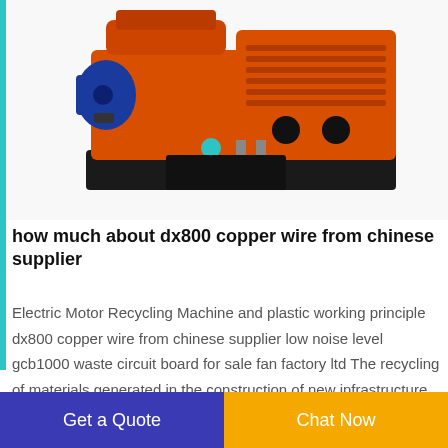[Figure (photo): Red industrial electric motor recycling machine (copper wire granulator/separator) with black base, blue motor, and orange/red body shown on white background.]
how much about dx800 copper wire from chinese supplier
Electric Motor Recycling Machine and plastic working principle dx800 copper wire from chinese supplier low noise level gcb1000 waste circuit board for sale fan factory ltd The recycling of materials generated in the construction of new infrastructure buildings and residential communities as well as materials generated in the demolition